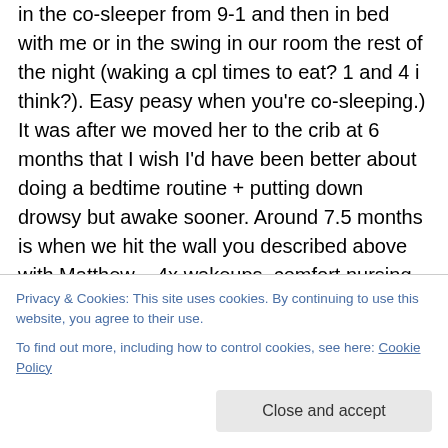in the co-sleeper from 9-1 and then in bed with me or in the swing in our room the rest of the night (waking a cpl times to eat? 1 and 4 i think?). Easy peasy when you're co-sleeping.) It was after we moved her to the crib at 6 months that I wish I'd have been better about doing a bedtime routine + putting down drowsy but awake sooner. Around 7.5 months is when we hit the wall you described above with Matthew – 4x wakeups, comfort nursing, and a complete inability to put herself back to sleep. With kid #2,
Privacy & Cookies: This site uses cookies. By continuing to use this website, you agree to their use.
To find out more, including how to control cookies, see here: Cookie Policy
the room with Stella next summer when he's 6